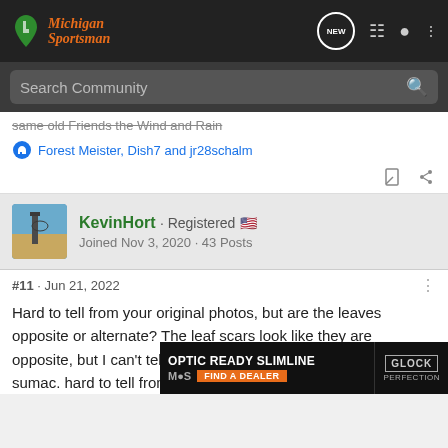Michigan Sportsman — Search Community
same old Friends the Wind and Rain
Forest Meister, Dish7 and jr28schalm
KevinHort · Registered · Joined Nov 3, 2020 · 43 Posts
#11 · Jun 21, 2022
Hard to tell from your original photos, but are the leaves opposite or alternate? The leaf scars look like they are opposite, but I can't tell. If they are opposite, it is not poison sumac. [Ad: OPTIC READY SLIMLINE / MOS FIND A DEALER / GLOCK PERFECTION] hard to tell from [obscured] have 7 to
[Figure (screenshot): Advertisement banner for Glock Optic Ready Slimline with MOS logo and Find a Dealer button]